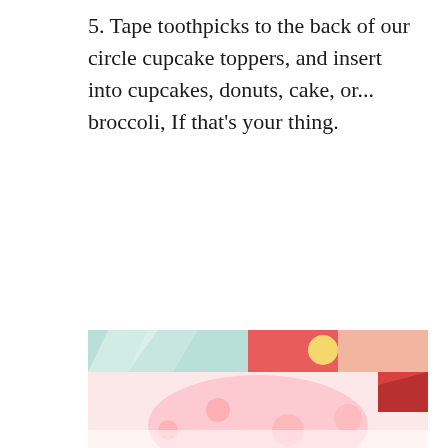5. Tape toothpicks to the back of our circle cupcake toppers, and insert into cupcakes, donuts, cake, or... broccoli, If that's your thing.
[Figure (photo): Partial view of colorful cupcake toppers/decorations with pastel colors including mint green, pink, red, and yellow, shown on what appears to be cupcakes or baked goods.]